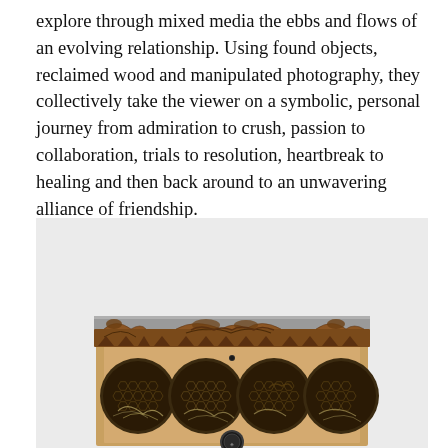explore through mixed media the ebbs and flows of an evolving relationship. Using found objects, reclaimed wood and manipulated photography, they collectively take the viewer on a symbolic, personal journey from admiration to crush, passion to collaboration, trials to resolution, heartbreak to healing and then back around to an unwavering alliance of friendship.
[Figure (photo): A mixed media artwork featuring a decorative wooden frame with ornate carved trim along the top, resembling a valance with leaf and animal motifs in dark brown/rust tones. Below the trim are four circular openings showing honeycomb-like textures and fibrous materials, resembling a bee hotel or nature-inspired assemblage piece, mounted on a light gray background.]